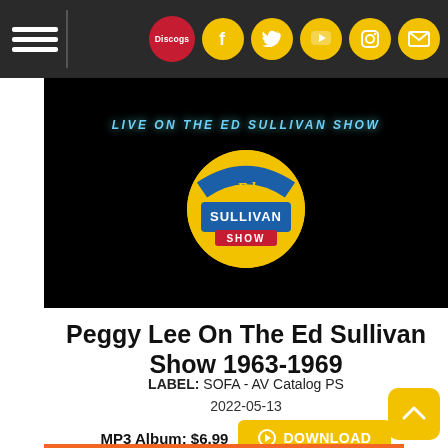Navigation bar with hamburger menu, Discogs logo, Facebook, Twitter, YouTube, Instagram, Mail icons
[Figure (photo): Hero image: black background with 'LIVE ON THE ED SULLIVAN SHOW' text in blue italic capitals, and the Ed Sullivan Show yellow circular logo in the center]
Peggy Lee On The Ed Sullivan Show 1963-1969
LABEL: SOFA - AV Catalog PS
2022-05-13
MP3 Album: $6.99  DOWNLOAD